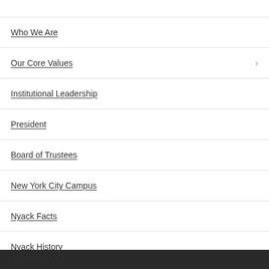Who We Are
Our Core Values
Institutional Leadership
President
Board of Trustees
New York City Campus
Nyack Facts
Nyack History